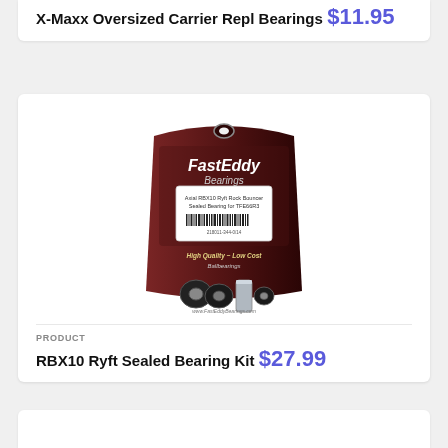X-Maxx Oversized Carrier Repl Bearings
$11.95
[Figure (photo): FastEddy Bearings product bag containing RBX10 Ryft sealed bearing kit components]
PRODUCT
RBX10 Ryft Sealed Bearing Kit
$27.99